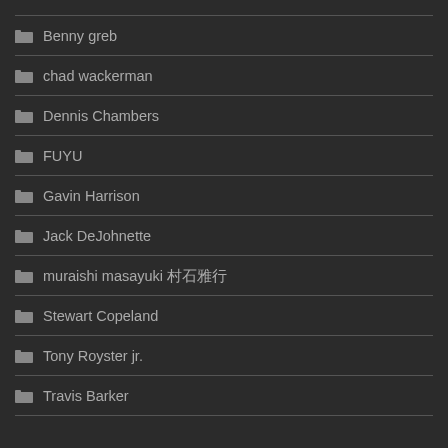Benny greb
chad wackerman
Dennis Chambers
FUYU
Gavin Harrison
Jack DeJohnette
muraishi masayuki 村石雅行
Stewart Copeland
Tony Royster jr.
Travis Barker